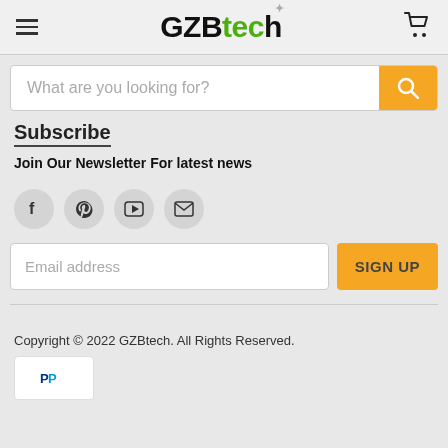GZBtech
What are you looking for?
Subscribe
Join Our Newsletter For latest news
[Figure (infographic): Social media icons: Facebook, Pinterest, YouTube, Email]
Email address
Copyright © 2022 GZBtech. All Rights Reserved.